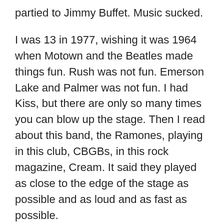partied to Jimmy Buffet. Music sucked.
I was 13 in 1977, wishing it was 1964 when Motown and the Beatles made things fun. Rush was not fun. Emerson Lake and Palmer was not fun. I had Kiss, but there are only so many times you can blow up the stage. Then I read about this band, the Ramones, playing in this club, CBGBs, in this rock magazine, Cream. It said they played as close to the edge of the stage as possible and as loud and as fast as possible.
In 2001 that may be no big deal, but in the era of arena rock where bands were acres from their fans, this was something special. The picture was of four guys in ripped jeans, leather